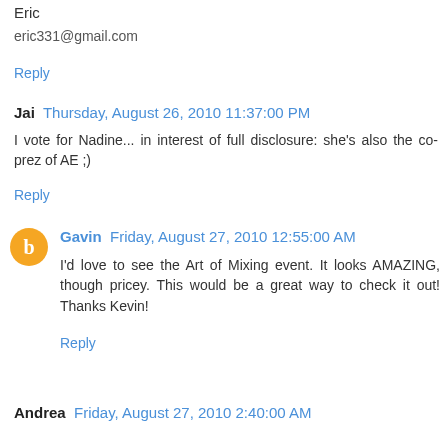Eric
eric331@gmail.com
Reply
Jai  Thursday, August 26, 2010 11:37:00 PM
I vote for Nadine... in interest of full disclosure: she's also the co-prez of AE ;)
Reply
Gavin  Friday, August 27, 2010 12:55:00 AM
I'd love to see the Art of Mixing event. It looks AMAZING, though pricey. This would be a great way to check it out! Thanks Kevin!
Reply
Andrea  Friday, August 27, 2010 2:40:00 AM